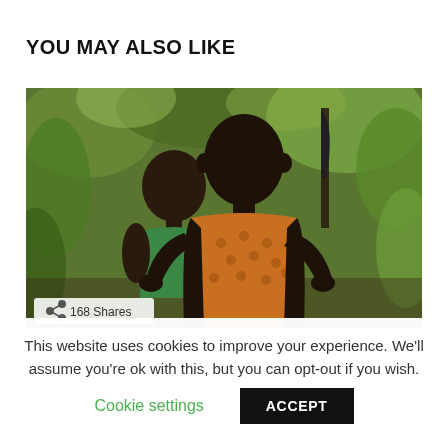YOU MAY ALSO LIKE
[Figure (photo): Two African children standing outdoors with green foliage in the background. The child in front wears an orange patterned sleeveless top and stands with hands on hips. A second child stands behind wearing a green top. A share badge shows '168 Shares' in the lower left corner of the image.]
This website uses cookies to improve your experience. We'll assume you're ok with this, but you can opt-out if you wish.
Cookie settings   ACCEPT